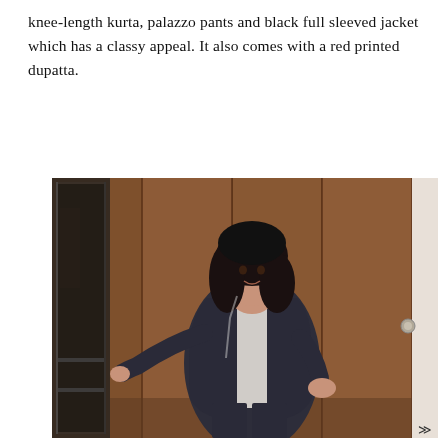knee-length kurta, palazzo pants and black full sleeved jacket which has a classy appeal. It also comes with a red printed dupatta.
[Figure (photo): A woman wearing a knee-length kurta, palazzo pants and a dark navy/black full-sleeved jacket, posing in front of a wooden panelled door/wall with a mirror to her left. She has shoulder-length black hair and is smiling slightly, with one hand on her hip and the other extended to the side.]